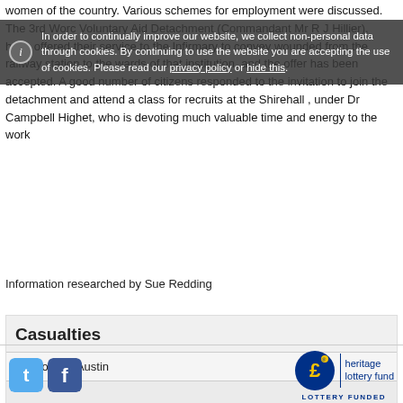women of the country. Various schemes for employment were discussed. The 3rd Worc Voluntary Aid Detachment (Commandant Mr R J Hillier), have offered their service to the Infirmary to convey wounded from the railway station to the wards of that institution, and the offer has been accepted. A good number of citizens responded to the invitation to join the detachment and attend a class for recruits at the Shirehall , under Dr Campbell Highet, who is devoting much valuable time and energy to the work
In order to continually improve our website, we collect non-personal data through cookies. By continuing to use the website you are accepting the use of cookies. Please read our privacy policy or hide this.
Information researched by Sue Redding
| Casualties |
| --- |
| Pte Joseph Austin |
Social media icons and Heritage Lottery Fund logo